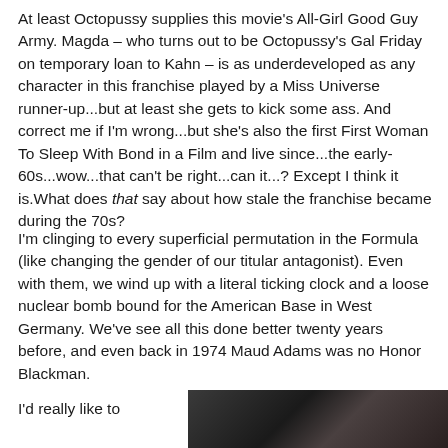At least Octopussy supplies this movie's All-Girl Good Guy Army. Magda – who turns out to be Octopussy's Gal Friday on temporary loan to Kahn – is as underdeveloped as any character in this franchise played by a Miss Universe runner-up...but at least she gets to kick some ass. And correct me if I'm wrong...but she's also the first First Woman To Sleep With Bond in a Film and live since...the early-60s...wow...that can't be right...can it...? Except I think it is.What does that say about how stale the franchise became during the 70s?
I'm clinging to every superficial permutation in the Formula (like changing the gender of our titular antagonist). Even with them, we wind up with a literal ticking clock and a loose nuclear bomb bound for the American Base in West Germany. We've see all this done better twenty years before, and even back in 1974 Maud Adams was no Honor Blackman.
I'd really like to
[Figure (photo): Dark film still showing a person, dimly lit scene]